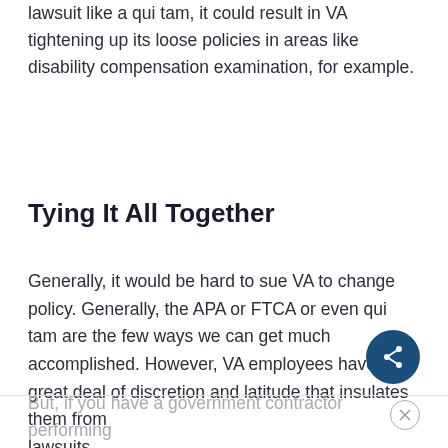lawsuit like a qui tam, it could result in VA tightening up its loose policies in areas like disability compensation examination, for example.
Tying It All Together
Generally, it would be hard to sue VA to change policy. Generally, the APA or FTCA or even qui tam are the few ways we can get much accomplished. However, VA employees have a great deal of discretion and latitude that insulates them from lawsuits.
But, if you have a government contractor performing